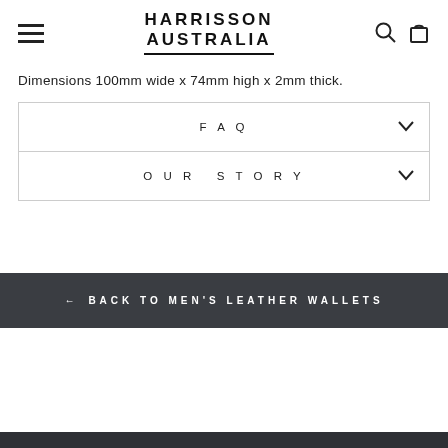HARRISSON AUSTRALIA
Dimensions 100mm wide x 74mm high x 2mm thick.
FAQ
OUR STORY
← BACK TO MEN'S LEATHER WALLETS